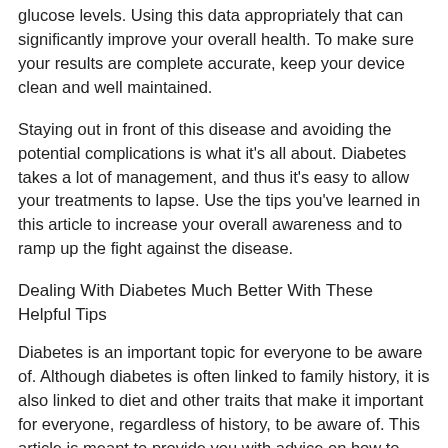glucose levels. Using this data appropriately that can significantly improve your overall health. To make sure your results are complete accurate, keep your device clean and well maintained.
Staying out in front of this disease and avoiding the potential complications is what it's all about. Diabetes takes a lot of management, and thus it's easy to allow your treatments to lapse. Use the tips you've learned in this article to increase your overall awareness and to ramp up the fight against the disease.
Dealing With Diabetes Much Better With These Helpful Tips
Diabetes is an important topic for everyone to be aware of. Although diabetes is often linked to family history, it is also linked to diet and other traits that make it important for everyone, regardless of history, to be aware of. This article is meant to provide you with advice on how to help reduce your chances of developing the disease and how to deal with it should you be diagnosed.
Apples are so good for you if you're diabetic! They give you something sweet to beat a sugar craving, and they're high in fiber, which will help you keep your weight down. They don't provide a large blood sugar spike after eating, so they can give